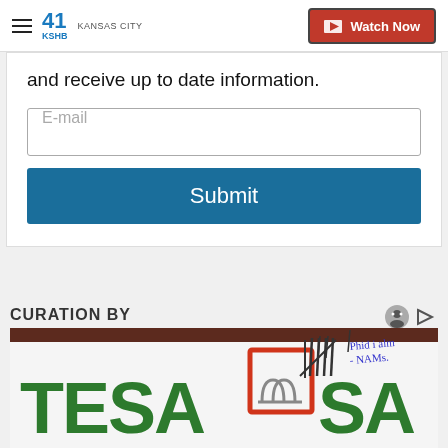41 KSHB KANSAS CITY | Watch Now
and receive up to date information.
E-mail
Submit
CURATION BY
[Figure (photo): Close-up photo of a bank sign showing partial letters 'TESA' and 'SAND' in green, with a red-bordered logo icon in the middle, and handwritten cursive text visible at the top right.]